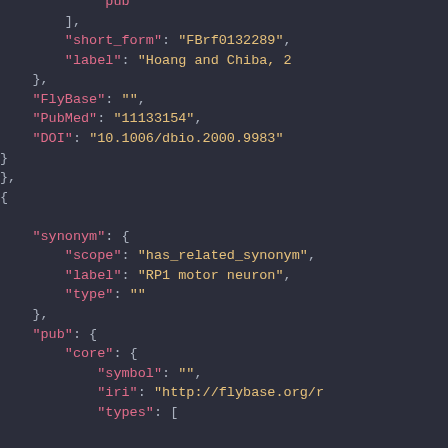JSON/code snippet showing biological database record with fields: pub, short_form, label, FlyBase, PubMed, DOI, synonym, scope, label, type, pub, core, symbol, iri, types